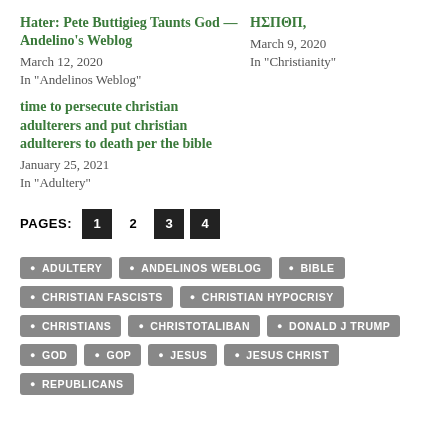Hater: Pete Buttigieg Taunts God — Andelino's Weblog
March 12, 2020
In "Andelinos Weblog"
ΗΣΠΘΠ,
March 9, 2020
In "Christianity"
time to persecute christian adulterers and put christian adulterers to death per the bible
January 25, 2021
In "Adultery"
PAGES: 1 2 3 4
ADULTERY
ANDELINOS WEBLOG
BIBLE
CHRISTIAN FASCISTS
CHRISTIAN HYPOCRISY
CHRISTIANS
CHRISTOTALIBAN
DONALD J TRUMP
GOD
GOP
JESUS
JESUS CHRIST
REPUBLICANS